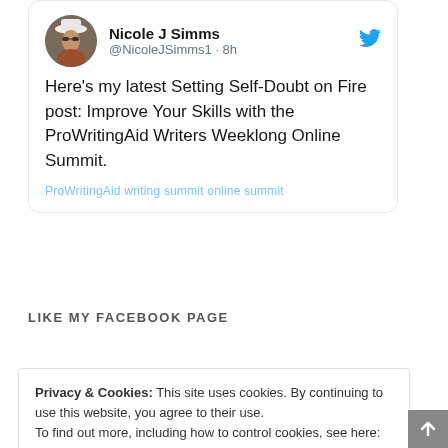[Figure (screenshot): Tweet card from Nicole J Simms (@NicoleJSimms1) posted 8h ago, with Twitter bird icon. Text: Here's my latest Setting Self-Doubt on Fire post: Improve Your Skills with the ProWritingAid Writers Weeklong Online Summit. Includes a partial link preview at the bottom.]
LIKE MY FACEBOOK PAGE
Privacy & Cookies: This site uses cookies. By continuing to use this website, you agree to their use.
To find out more, including how to control cookies, see here: Cookie Policy
Close and accept